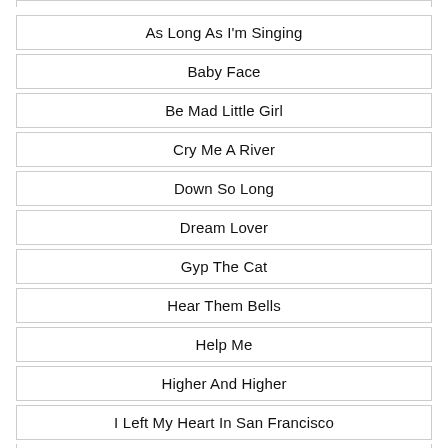As Long As I'm Singing
Baby Face
Be Mad Little Girl
Cry Me A River
Down So Long
Dream Lover
Gyp The Cat
Hear Them Bells
Help Me
Higher And Higher
I Left My Heart In San Francisco